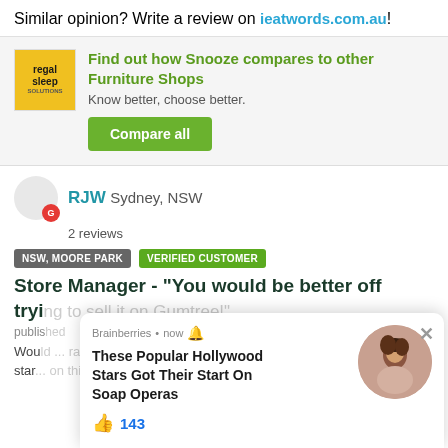Similar opinion? Write a review on ieatwords.com.au!
[Figure (other): Regal Sleep Solutions logo - yellow background with text]
Find out how Snooze compares to other Furniture Shops
Know better, choose better.
Compare all
RJW Sydney, NSW
2 reviews
NSW, MOORE PARK
VERIFIED CUSTOMER
Store Manager - "You would be better off trying to sell it on Gumtree!"
published
Would ... rating I could star ... on this site
[Figure (screenshot): Brainberries ad popup: 'These Popular Hollywood Stars Got Their Start On Soap Operas' with 143 likes and a photo of a woman]